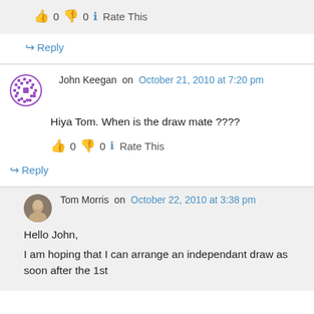👍 0 👎 0 ℹ Rate This
↪ Reply
John Keegan on October 21, 2010 at 7:20 pm
Hiya Tom. When is the draw mate ????
👍 0 👎 0 ℹ Rate This
↪ Reply
Tom Morris on October 22, 2010 at 3:38 pm
Hello John,
I am hoping that I can arrange an independant draw as soon after the 1st